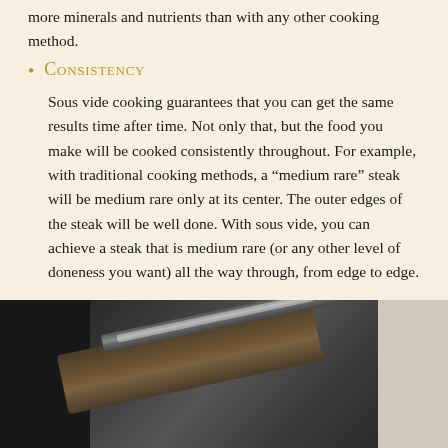more minerals and nutrients than with any other cooking method.
Consistency
Sous vide cooking guarantees that you can get the same results time after time. Not only that, but the food you make will be cooked consistently throughout. For example, with traditional cooking methods, a “medium rare” steak will be medium rare only at its center. The outer edges of the steak will be well done. With sous vide, you can achieve a steak that is medium rare (or any other level of doneness you want) all the way through, from edge to edge.
[Figure (photo): Close-up photo of a pen or stylus resting on a wooden or dark surface, with a light-colored surface visible on the right edge.]